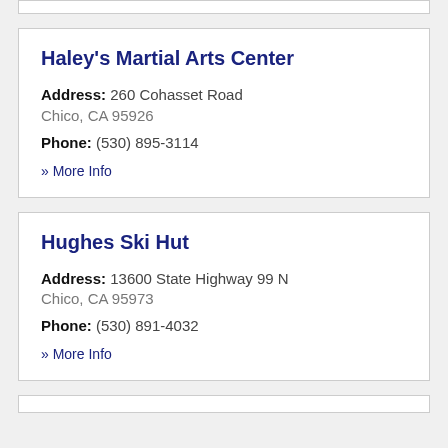Haley's Martial Arts Center
Address: 260 Cohasset Road
Chico, CA 95926
Phone: (530) 895-3114
» More Info
Hughes Ski Hut
Address: 13600 State Highway 99 N
Chico, CA 95973
Phone: (530) 891-4032
» More Info